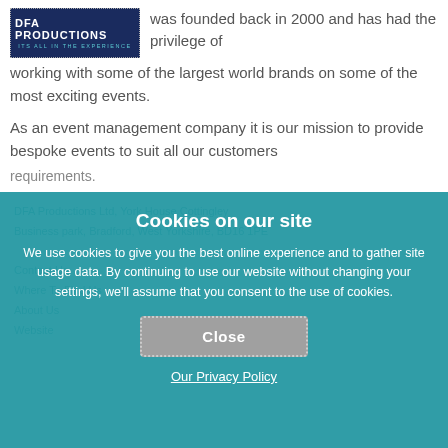[Figure (logo): DFA Productions logo — dark navy background with white bold text 'DFA Productions' and teal tagline 'ITS ALL IN THE EXPERIENCE']
was founded back in 2000 and has had the privilege of working with some of the largest world brands on some of the most exciting events.
As an event management company it is our mission to provide bespoke events to suit all our customers requirements.
DFA Productions Ltd, York House Cottingley Business park, Bradford, West Yorkshire, BD16 1PE
Contact Us
Where To Find Us
About Us
Website
Cookies on our site
We use cookies to give you the best online experience and to gather site usage data. By continuing to use our website without changing your settings, we'll assume that you consent to the use of cookies.
Close
Our Privacy Policy